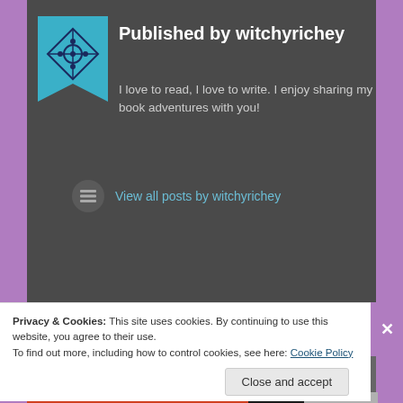Published by witchyrichey
I love to read, I love to write. I enjoy sharing my book adventures with you!
View all posts by witchyrichey
October 28, 2016
Badd Motherf*cker by Jasinda Wilder ~ Release Blitz
Privacy & Cookies:  This site uses cookies. By continuing to use this website, you agree to their use.
To find out more, including how to control cookies, see here: Cookie Policy